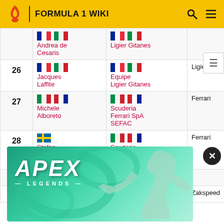FORMULA 1 WIKI
| # | Driver | Team | Constructor | Chassis |
| --- | --- | --- | --- | --- |
|  | Andrea de Cesaris | Ligier Gitanes |  |  |
| 26 | Jacques Laffite | Equipe Ligier Gitanes | Ligier | JS25 |
| 27 | Michele Alboreto | Scuderia Ferrari SpA SEFAC | Ferrari | 156/8 |
| 28 | Stefan Johansson | Scuderia Ferrari SpA SEFAC | Ferrari | 156/8 |
| 29 |  |  |  | M185 |
| 30 |  | West | Zakspeed | 841 |
[Figure (screenshot): Apex Legends advertisement banner with game character holding a sniper rifle against a teal/green background]